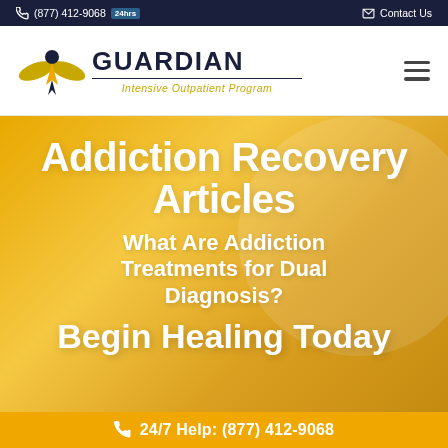(877) 412-9068  24hrs    Contact Us
[Figure (logo): Guardian Intensive Outpatient Program logo with winged figure icon]
Addiction Recovery Articles
What Are Addiction Treatments for Dual Diagnosis?
Begin Healing Today
24/7 Help: (877) 412-9068